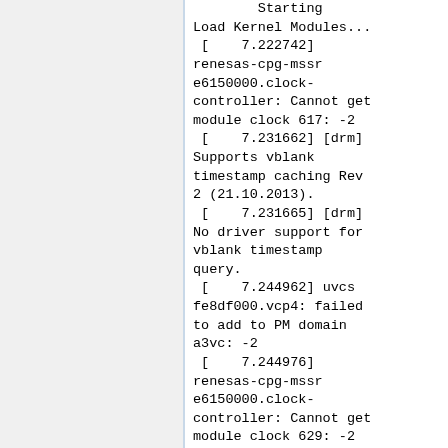[Figure (screenshot): Terminal/console output showing Linux kernel boot log messages with timestamps, including kernel module loading messages, renesas-cpg-mssr clock controller errors, DRM vblank support messages, uvcs vcp4 PM domain errors, and vspm messages.]